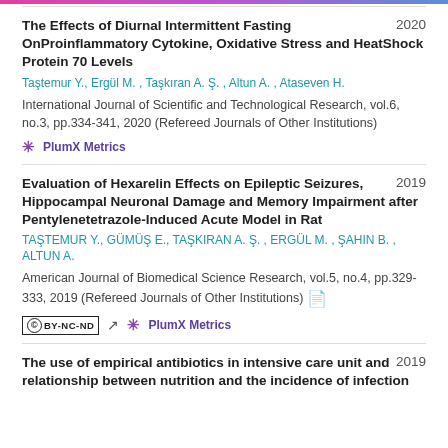The Effects of Diurnal Intermittent Fasting OnProinflammatory Cytokine, Oxidative Stress and HeatShock Protein 70 Levels 2020
Taştemur Y., Ergül M., Taşkıran A. Ş., Altun A., Ataseven H.
International Journal of Scientific and Technological Research, vol.6, no.3, pp.334-341, 2020 (Refereed Journals of Other Institutions)
PlumX Metrics
Evaluation of Hexarelin Effects on Epileptic Seizures, Hippocampal Neuronal Damage and Memory Impairment after Pentylenetetrazole-Induced Acute Model in Rat 2019
TAŞTEMUR Y., GÜMÜŞ E., TAŞKIRAN A. Ş., ERGÜL M., şahin B., ALTUN A.
American Journal of Biomedical Science Research, vol.5, no.4, pp.329-333, 2019 (Refereed Journals of Other Institutions)
PlumX Metrics
The use of empirical antibiotics in intensive care unit and relationship between nutrition and the incidence of infection 2019